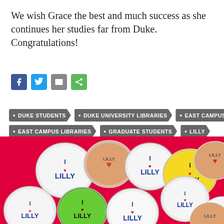We wish Grace the best and much success as she continues her studies far from Duke. Congratulations!
[Figure (infographic): Social media sharing icons: Facebook (blue), Twitter (blue), Email (gray), Share (green)]
DUKE STUDENTS
DUKE UNIVERSITY LIBRARIES
EAST CAMPUS
EAST CAMPUS LIBRARIES
GRADUATE STUDENTS
LILLY
LILLY LIBRARY
STUDENT STAFF
STUDENTS
WORKING IN THE LIBRARY
[Figure (photo): Collection of 'I Love Lilly' buttons/pins scattered on a red background, featuring heart symbols and text LILLY in various colors including white, yellow, green, and orange]